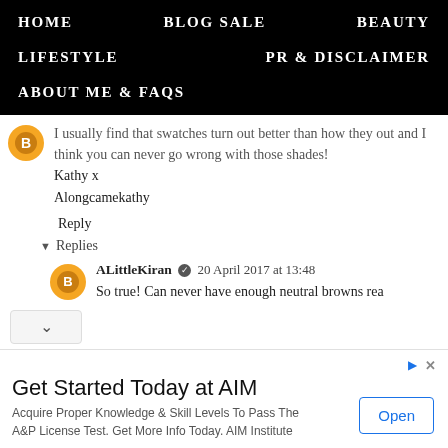HOME   BLOG SALE   BEAUTY   LIFESTYLE   PR & DISCLAIMER   ABOUT ME & FAQs
I usually find that swatches turn out better than how they out and I think you can never go wrong with those shades! Kathy x Alongcamekathy
Reply
Replies
ALittleKiran  20 April 2017 at 13:48
So true! Can never have enough neutral browns rea
[Figure (screenshot): Advertisement banner: Get Started Today at AIM. Acquire Proper Knowledge & Skill Sets To Pass The A&P License Test. Get More Info Today. AIM Institute. Open button.]